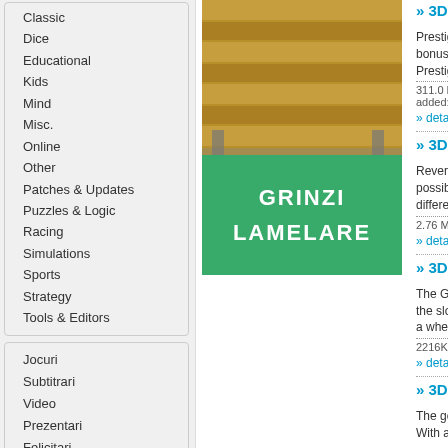Classic
Dice
Educational
Kids
Mind
Misc.
Online
Other
Patches & Updates
Puzzles & Logic
Racing
Simulations
Sports
Strategy
Tools & Editors
[Figure (photo): Stacked laminated wood beams (grinzi lamelare) with a green banner overlay reading GRINZI LAMELARE]
Jocuri
Subtitrari
Video
Prezentari
Felicitari
Coduri postale
Curs valutar
Bancuri
» 3D Prestig…
Prestige Casino bonuses are equ… Prestige Casino
311.0 KB |Freewar… added: Feb 29, 201…
» details
» 3D Revers…
Reversi is a two possibilities, tha… different Elo leve…
2.76 MB |Sharewa…
» details
» 3D Saloon…
The Golden Gun the slots like the… a wheel lock fea…
2216KB |Sharewa…
» details
» 3D Tetris …
The goal of the 3… With a visit to…